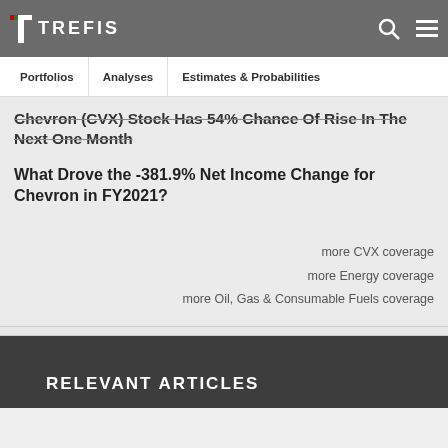TREFIS
Portfolios   Analyses   Estimates & Probabilities
Chevron (CVX) Stock Has 54% Chance Of Rise In The Next One Month
What Drove the -381.9% Net Income Change for Chevron in FY2021?
more CVX coverage
more Energy coverage
more Oil, Gas & Consumable Fuels coverage
RELEVANT ARTICLES